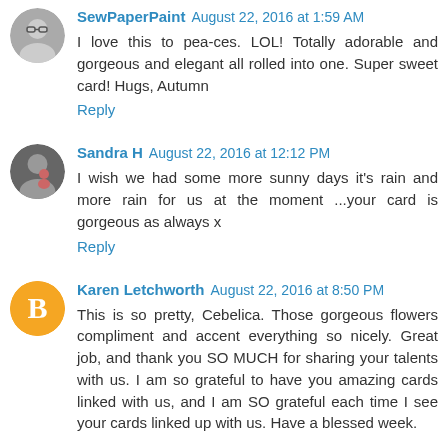SewPaperPaint August 22, 2016 at 1:59 AM
I love this to pea-ces. LOL! Totally adorable and gorgeous and elegant all rolled into one. Super sweet card! Hugs, Autumn
Reply
Sandra H August 22, 2016 at 12:12 PM
I wish we had some more sunny days it's rain and more rain for us at the moment ...your card is gorgeous as always x
Reply
Karen Letchworth August 22, 2016 at 8:50 PM
This is so pretty, Cebelica. Those gorgeous flowers compliment and accent everything so nicely. Great job, and thank you SO MUCH for sharing your talents with us. I am so grateful to have you amazing cards linked with us, and I am SO grateful each time I see your cards linked up with us. Have a blessed week.